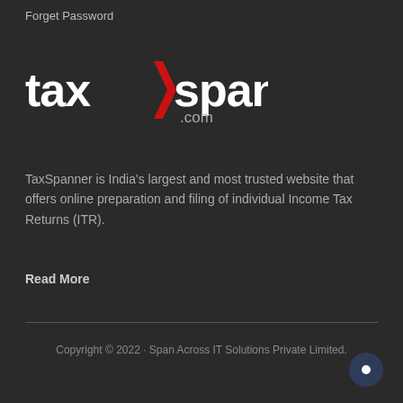Forget Password
[Figure (logo): TaxSpanner.com logo with red chevron/arrow between 'tax' and 'spanner', white bold text on dark background]
TaxSpanner is India's largest and most trusted website that offers online preparation and filing of individual Income Tax Returns (ITR).
Read More
Copyright © 2022 · Span Across IT Solutions Private Limited.